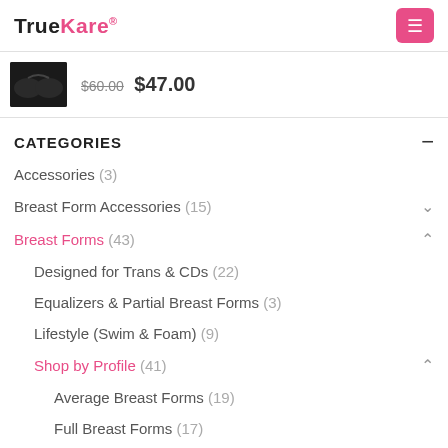TrueKare
$60.00 $47.00
CATEGORIES
Accessories (3)
Breast Form Accessories (15)
Breast Forms (43)
Designed for Trans & CDs (22)
Equalizers & Partial Breast Forms (3)
Lifestyle (Swim & Foam) (9)
Shop by Profile (41)
Average Breast Forms (19)
Full Breast Forms (17)